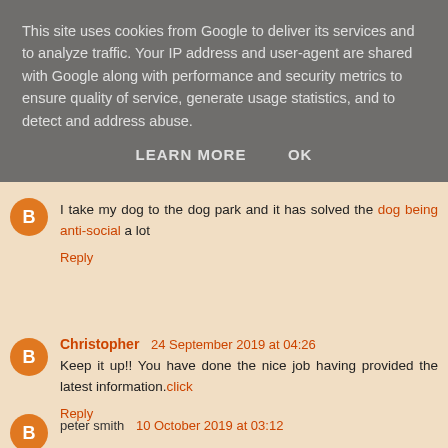This site uses cookies from Google to deliver its services and to analyze traffic. Your IP address and user-agent are shared with Google along with performance and security metrics to ensure quality of service, generate usage statistics, and to detect and address abuse.
LEARN MORE   OK
I take my dog to the dog park and it has solved the dog being anti-social a lot
Reply
Christopher   24 September 2019 at 04:26
Keep it up!! You have done the nice job having provided the latest information.click
Reply
peter smith   10 October 2019 at 03:12